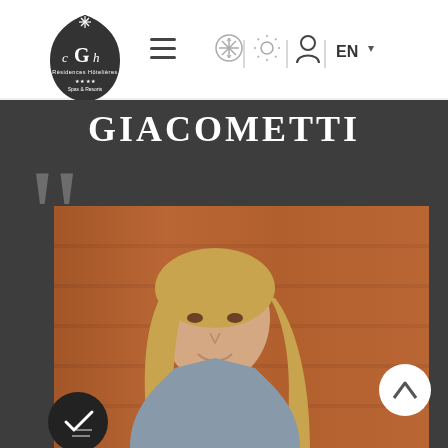[Figure (screenshot): CGH Residences website screenshot showing navigation bar with CGH logo, hamburger menu, winter/summer toggle icons, user icon, and EN language selector]
GIACOMETTI
[Figure (photo): Portrait photo of a woman with long blonde hair, smiling, standing against a wooden plank wall background. Large grey quotation marks appear in the top-left corner overlay. A white circle back-to-top button is in the lower right, and a dark circular cookie/checkmark button in the lower left.]